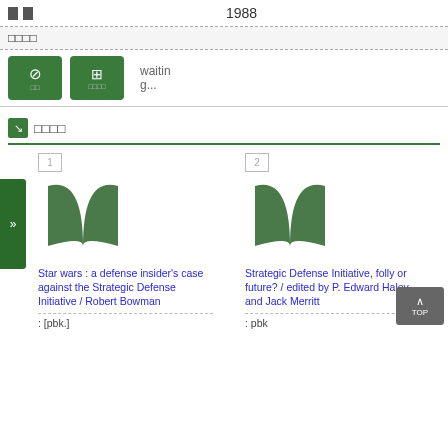1988
□□□□
waiting...
□□□□
1  Star wars : a defense insider's case against the Strategic Defense Initiative / Robert Bowman
: [pbk.]
2  Strategic Defense Initiative, folly or future? / edited by P. Edward Haley and Jack Merritt
: pbk